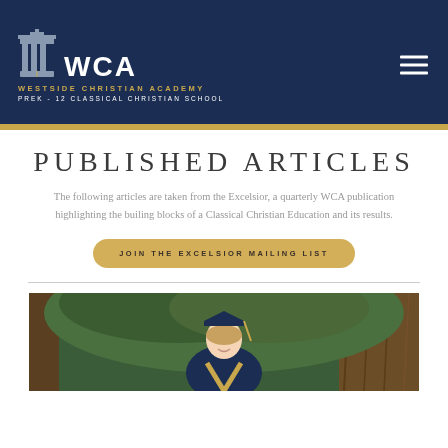WCA - WESTSIDE CHRISTIAN ACADEMY - PREK - 12 CLASSICAL CHRISTIAN SCHOOL
PUBLISHED ARTICLES
The following articles are taken from the Excelsior, a quarterly WCA publication highlighting the builing blocks of a Classical Christian Education and its results.
JOIN THE EXCELSIOR MAILING LIST
[Figure (photo): A smiling female graduate in navy blue cap and gown with gold sash, standing outdoors in front of a large tree trunk with green foliage in the background.]